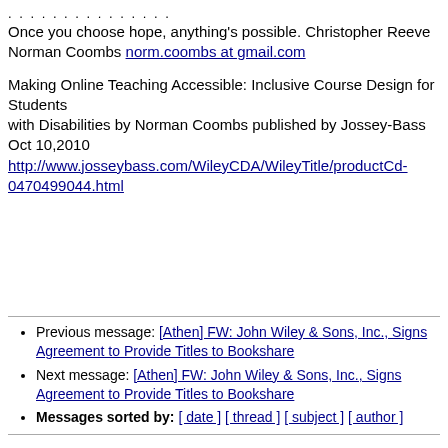. . . . . . . . . . . . . . .
Once you choose hope, anything's possible. Christopher Reeve Norman Coombs norm.coombs at gmail.com
Making Online Teaching Accessible: Inclusive Course Design for Students with Disabilities by Norman Coombs published by Jossey-Bass Oct 10,2010 http://www.josseybass.com/WileyCDA/WileyTitle/productCd-0470499044.html
Previous message: [Athen] FW: John Wiley & Sons, Inc., Signs Agreement to Provide Titles to Bookshare
Next message: [Athen] FW: John Wiley & Sons, Inc., Signs Agreement to Provide Titles to Bookshare
Messages sorted by: [ date ] [ thread ] [ subject ] [ author ]
More information about the athen-list mailing list